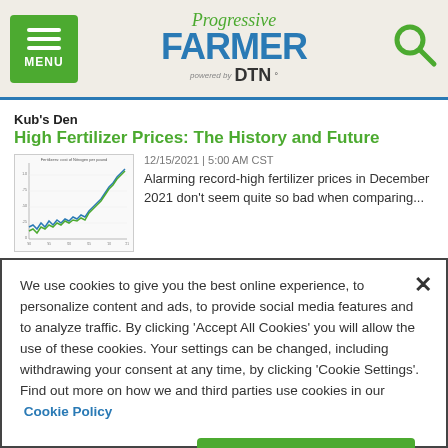Progressive FARMER powered by DTN — MENU | Search
Kub's Den
High Fertilizer Prices: The History and Future
[Figure (continuous-plot): Small thumbnail chart showing fertilizer cost of nitrogen per pound over time, with multiple lines trending upward sharply at the right end]
12/15/2021 | 5:00 AM CST
Alarming record-high fertilizer prices in December 2021 don't seem quite so bad when comparing...
We use cookies to give you the best online experience, to personalize content and ads, to provide social media features and to analyze traffic. By clicking 'Accept All Cookies' you will allow the use of these cookies. Your settings can be changed, including withdrawing your consent at any time, by clicking 'Cookie Settings'. Find out more on how we and third parties use cookies in our  Cookie Policy
Cookies Settings
Accept All Cookies